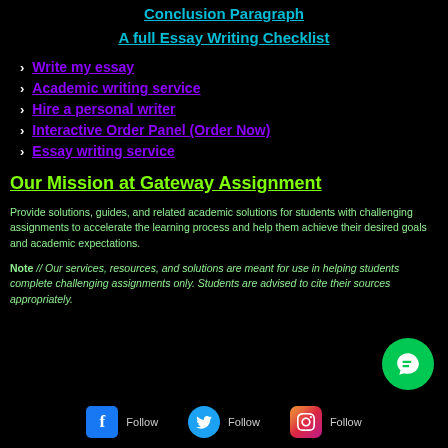Conclusion Paragraph
A full Essay Writing Checklist
Write my essay
Academic writing service
Hire a personal writer
Interactive Order Panel (Order Now)
Essay writing service
Our Mission at Gateway Assignment
Provide solutions, guides, and related academic solutions for students with challenging assignments to accelerate the learning process and help them achieve their desired goals and academic expectations.
Note // Our services, resources, and solutions are meant for use in helping students complete challenging assignments only. Students are advised to cite their sources appropriately.
Follow  Follow  Follow